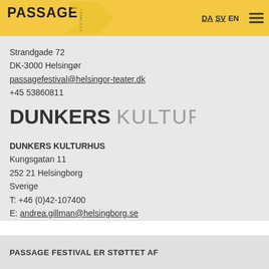PASSAGE FESTIVAL — DA SV EN
Strandgade 72
DK-3000 Helsingør
passagefestival@helsingor-teater.dk
+45 53860811
[Figure (logo): Dunkers Kulturhus logo — DUNKERS in bold dark, KULTURHUS in light gray uppercase]
DUNKERS KULTURHUS
Kungsgatan 11
252 21 Helsingborg
Sverige
T: +46 (0)42-107400
E: andrea.gillman@helsingborg.se
PASSAGE FESTIVAL ER STØTTET AF